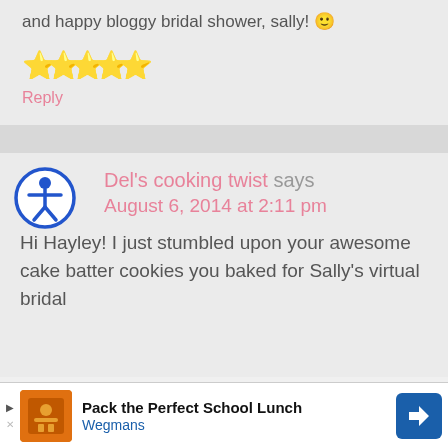and happy bloggy bridal shower, sally! 🙂
[Figure (other): Five gold/yellow star rating icons]
Reply
Del's cooking twist says
August 6, 2014 at 2:11 pm
Hi Hayley! I just stumbled upon your awesome cake batter cookies you baked for Sally's virtual bridal
[Figure (other): Advertisement banner: Pack the Perfect School Lunch - Wegmans]